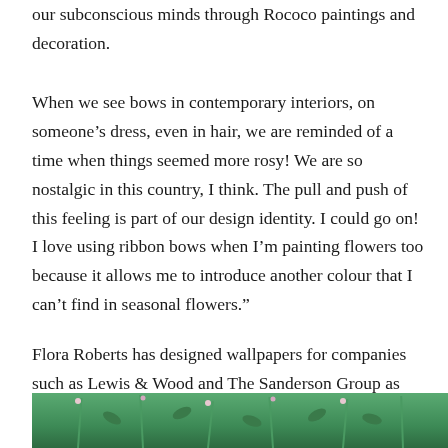our subconscious minds through Rococo paintings and decoration.
When we see bows in contemporary interiors, on someone's dress, even in hair, we are reminded of a time when things seemed more rosy! We are so nostalgic in this country, I think. The pull and push of this feeling is part of our design identity. I could go on! I love using ribbon bows when I'm painting flowers too because it allows me to introduce another colour that I can't find in seasonal flowers."
Flora Roberts has designed wallpapers for companies such as Lewis & Wood and The Sanderson Group as well as has her own exquisite collection at Hamilton Weston.
[Figure (photo): Bottom strip of a photograph showing green botanical/floral artwork with stems and plants against a green background]